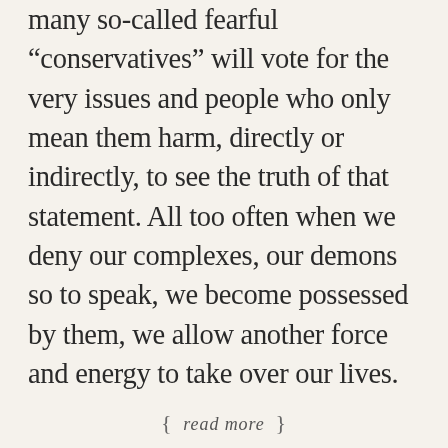many so-called fearful “conservatives” will vote for the very issues and people who only mean them harm, directly or indirectly, to see the truth of that statement. All too often when we deny our complexes, our demons so to speak, we become possessed by them, we allow another force and energy to take over our lives.
{ read more }